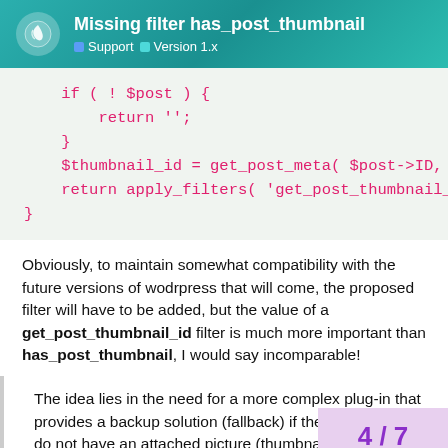Missing filter has_post_thumbnail
Support  Version 1.x
[Figure (screenshot): Code block showing PHP code snippet with if(!$post){return '';} and $thumbnail_id and return apply_filters lines in red monospace font on light green background]
Obviously, to maintain somewhat compatibility with the future versions of wodrpress that will come, the proposed filter will have to be added, but the value of a get_post_thumbnail_id filter is much more important than has_post_thumbnail, I would say incomparable!
The idea lies in the need for a more complex plug-in that provides a backup solution (fallback) if the articles / posts do not have an attached picture (thumbnail
4 / 7